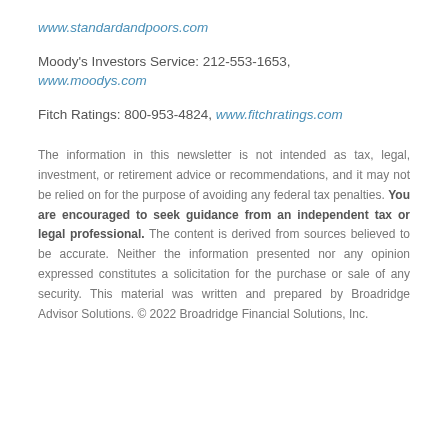www.standardandpoors.com
Moody's Investors Service: 212-553-1653, www.moodys.com
Fitch Ratings: 800-953-4824, www.fitchratings.com
The information in this newsletter is not intended as tax, legal, investment, or retirement advice or recommendations, and it may not be relied on for the purpose of avoiding any federal tax penalties. You are encouraged to seek guidance from an independent tax or legal professional. The content is derived from sources believed to be accurate. Neither the information presented nor any opinion expressed constitutes a solicitation for the purchase or sale of any security. This material was written and prepared by Broadridge Advisor Solutions. © 2022 Broadridge Financial Solutions, Inc.